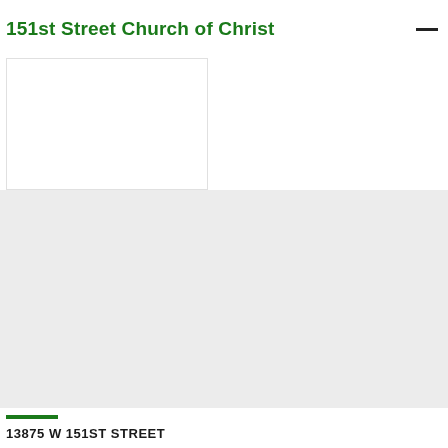151st Street Church of Christ
[Figure (photo): Large gray image area representing a church or building photo placeholder]
13875 W 151ST STREET